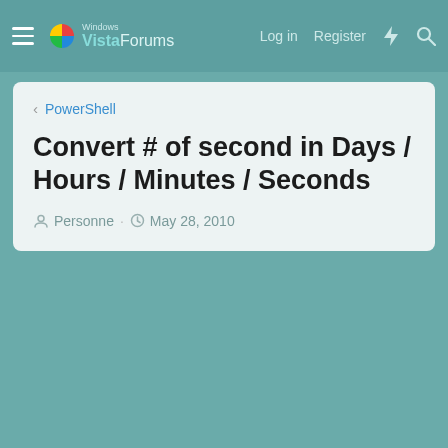Windows VistaForums — Log in  Register
< PowerShell
Convert # of second in Days / Hours / Minutes / Seconds
Personne · May 28, 2010